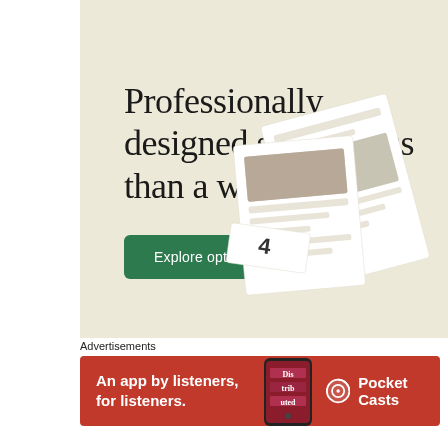[Figure (illustration): Advertisement banner with beige/cream background showing the headline 'Professionally designed sites in less than a week' with a green 'Explore options' button and website mockup images in the bottom right corner]
Advertisements
[Figure (illustration): Pocket Casts advertisement banner on red background with text 'An app by listeners, for listeners.' and Pocket Casts logo]